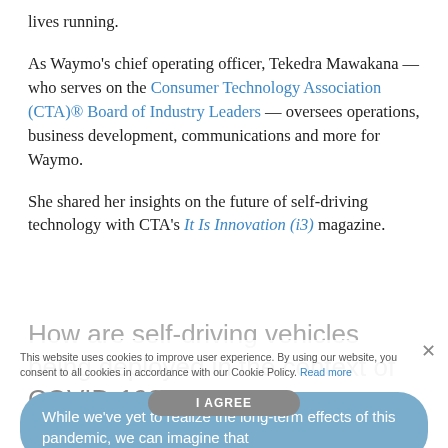lives running.
As Waymo's chief operating officer, Tekedra Mawakana — who serves on the Consumer Technology Association (CTA)® Board of Industry Leaders — oversees operations, business development, communications and more for Waymo.
She shared her insights on the future of self-driving technology with CTA's It Is Innovation (i3) magazine.
How are self-driving vehicles being deployed in the context of COVID-19?
This website uses cookies to improve user experience. By using our website, you consent to all cookies in accordance with our Cookie Policy. Read more
While we've yet to realize the long-term effects of this pandemic, we can imagine that